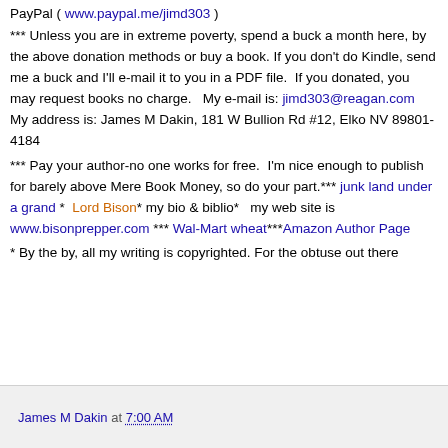PayPal ( www.paypal.me/jimd303 )
*** Unless you are in extreme poverty, spend a buck a month here, by the above donation methods or buy a book. If you don't do Kindle, send me a buck and I'll e-mail it to you in a PDF file.  If you donated, you may request books no charge.   My e-mail is: jimd303@reagan.com  My address is: James M Dakin, 181 W Bullion Rd #12, Elko NV 89801-4184
*** Pay your author-no one works for free.  I'm nice enough to publish for barely above Mere Book Money, so do your part.*** junk land under a grand *  Lord Bison* my bio & biblio*   my web site is www.bisonprepper.com *** Wal-Mart wheat***Amazon Author Page
* By the by, all my writing is copyrighted. For the obtuse out there
James M Dakin at 7:00 AM